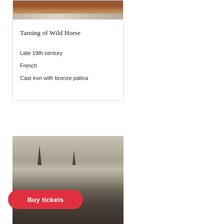[Figure (photo): Top portion of a bronze/copper artifact or sculpture on a decorative base, partial view cropped at top]
Taming of Wild Horse
Late 19th century
French
Cast iron with bronze patina
[Figure (photo): Black and white historical photograph showing a building or fairground with spires and flags, with crowds in foreground]
Buy tickets